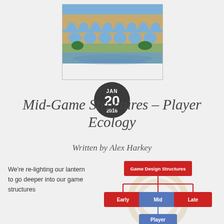[Figure (photo): Photo of a Roman aqueduct (Pont du Gard) with multiple arches reflected in water, with a dark circular date badge overlaid showing JAN 20 2016]
Mid-Game Structures – Player Ecology
Written by Alex Harkey
We're re-lighting our lantern to go deeper into our game structures
[Figure (flowchart): Organizational chart showing 'Game Design Structures' at top (red box), branching to three nodes: 'Early' (red), 'Mid' (blue), 'Late' (red), with 'Player' node (blue) below 'Mid']